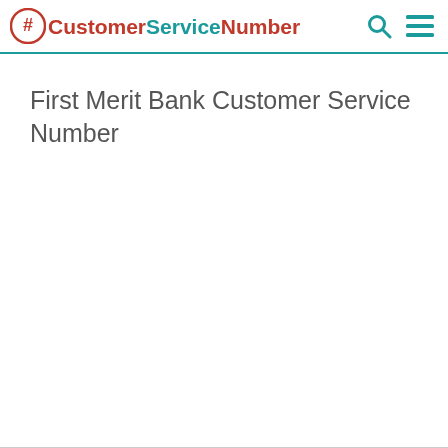CustomerServiceNumber
First Merit Bank Customer Service Number